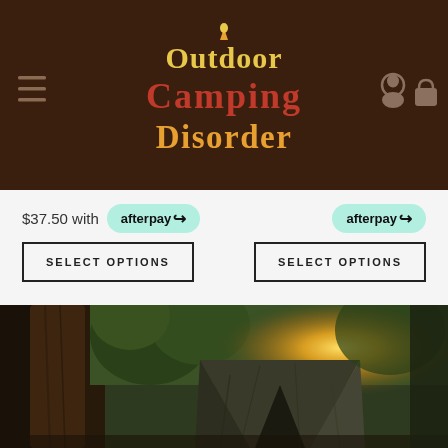[Figure (logo): Outdoor Camping Disorder logo with stylized colorful text on dark brown navigation header bar]
$37.50 with afterpay
afterpay
SELECT OPTIONS
SELECT OPTIONS
[Figure (photo): Outdoor camping scene with large pine trees and a canvas/camo tent in a forest with golden sunlight filtering through the trees]